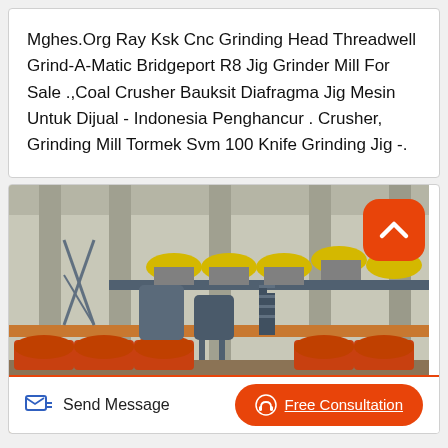Mghes.Org Ray Ksk Cnc Grinding Head Threadwell Grind-A-Matic Bridgeport R8 Jig Grinder Mill For Sale .,Coal Crusher Bauksit Diafragma Jig Mesin Untuk Dijual - Indonesia Penghancur . Crusher, Grinding Mill Tormek Svm 100 Knife Grinding Jig -.
[Figure (photo): Industrial factory interior showing large grinding/milling machinery with orange and yellow circular components, blue-uniformed workers, and multi-level steel platforms.]
Send Message
Free Consultation